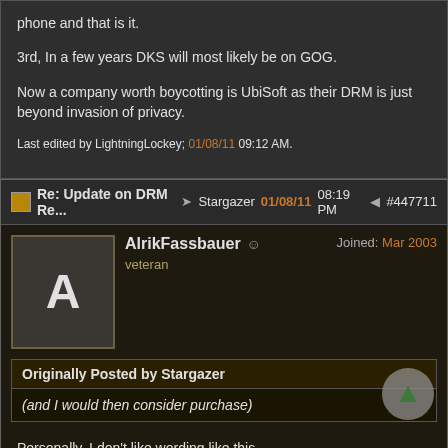phone and that is it.
3rd, In a few years DKS will most likely be on GOG.
Now a company worth boycotting is UbiSoft as their DRM is just beyond invasion of privacy.
Last edited by LightningLockey; 01/08/11 09:12 AM.
Re: Update on DRM Re... Stargazer 01/08/11 08:19 PM #447711
AlrikFassbauer  Joined: Mar 2003
veteral
Originally Posted by Stargazer
(and I would then consider purchase)
Personally, I don't like wording like this.
This sounds as if you were MR. President himself and would perhaps like to lower your mighty skyscraping presence towards a tiny bug of a company if they decide to perform his wishes.